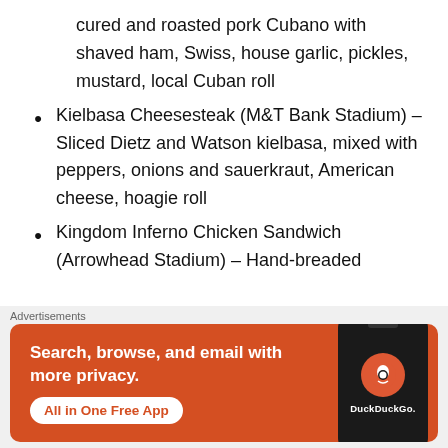cured and roasted pork Cubano with shaved ham, Swiss, house garlic, pickles, mustard, local Cuban roll
Kielbasa Cheesesteak (M&T Bank Stadium) – Sliced Dietz and Watson kielbasa, mixed with peppers, onions and sauerkraut, American cheese, hoagie roll
Kingdom Inferno Chicken Sandwich (Arrowhead Stadium) – Hand-breaded
Advertisements
[Figure (infographic): DuckDuckGo advertisement banner with orange background. Text reads: Search, browse, and email with more privacy. All in One Free App. Shows a smartphone with DuckDuckGo logo.]